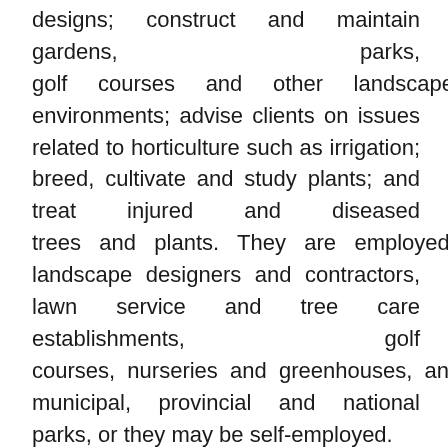designs; construct and maintain gardens, parks, golf courses and other landscaped environments; advise clients on issues related to horticulture such as irrigation; breed, cultivate and study plants; and treat injured and diseased trees and plants. They are employed by landscape designers and contractors, lawn service and tree care establishments, golf courses, nurseries and greenhouses, and municipal, provincial and national parks, or they may be self-employed.
Profile
Example titles
Arborist